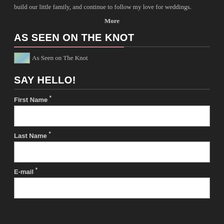build our little family, and continue to follow my love for weddings.
More
AS SEEN ON THE KNOT
[Figure (illustration): As Seen on The Knot badge/logo image]
SAY HELLO!
First Name *
Last Name *
E-mail *